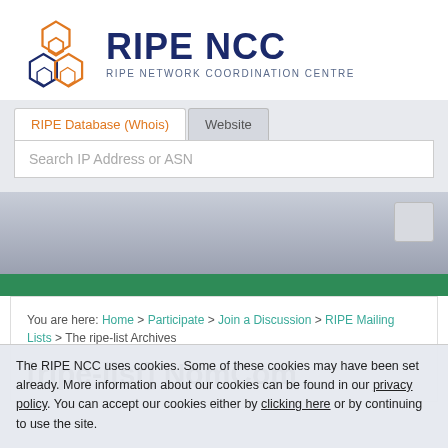[Figure (logo): RIPE NCC logo with hexagonal geometric icon and text 'RIPE NCC' and 'RIPE NETWORK COORDINATION CENTRE']
RIPE Database (Whois) | Website
Search IP Address or ASN
You are here: Home > Participate > Join a Discussion > RIPE Mailing Lists > The ripe-list Archives
[ripe-list] NomCom
The RIPE NCC uses cookies. Some of these cookies may have been set already. More information about our cookies can be found in our privacy policy. You can accept our cookies either by clicking here or by continuing to use the site.